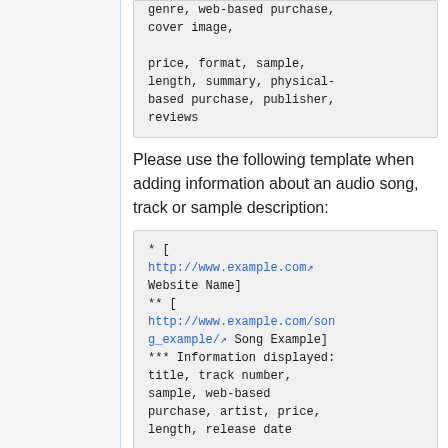genre, web-based purchase, cover image,

price, format, sample, length, summary, physical-based purchase, publisher, reviews
Please use the following template when adding information about an audio song, track or sample description:
* [ http://www.example.com Website Name]
** [ http://www.example.com/song_example/ Song Example]
*** Information displayed: title, track number, sample, web-based purchase, artist, price, length, release date